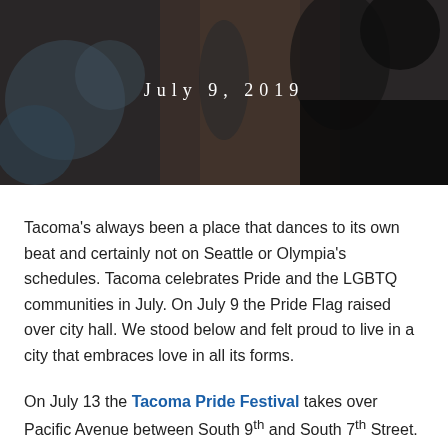[Figure (photo): Dark blurred background photo with bokeh light effects, hero image at top of page]
July 9, 2019
Tacoma’s always been a place that dances to its own beat and certainly not on Seattle or Olympia’s schedules. Tacoma celebrates Pride and the LGBTQ communities in July. On July 9 the Pride Flag raised over city hall. We stood below and felt proud to live in a city that embraces love in all its forms.
On July 13 the Tacoma Pride Festival takes over Pacific Avenue between South 9th and South 7th Street. We will be there as well.